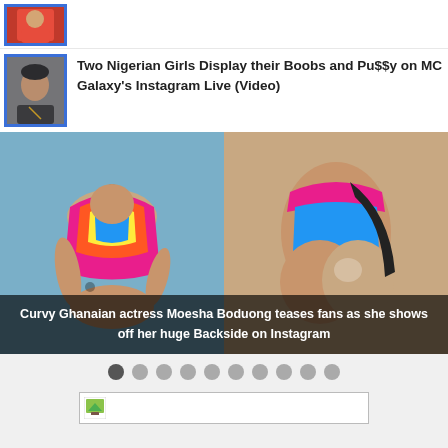[Figure (photo): Thumbnail image of a person in red jacket, partially visible at top]
[Figure (photo): Thumbnail portrait of MC Galaxy, a Nigerian entertainer]
Two Nigerian Girls Display their Boobs and Pu$$y on MC Galaxy's Instagram Live (Video)
[Figure (photo): Curvy Ghanaian actress Moesha Boduong in colorful swimsuit, showing front and back side views]
Curvy Ghanaian actress Moesha Boduong teases fans as she shows off her huge Backside on Instagram
[Figure (other): Slideshow navigation dots, 10 total with first one active/darker]
[Figure (other): Bottom content box with small icon, partially visible]